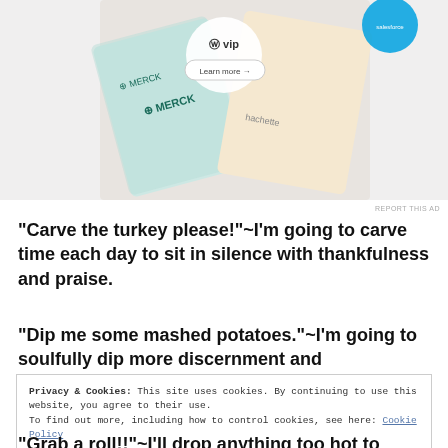[Figure (screenshot): Advertisement banner showing WordPress VIP and partner logos including Merck and Hachette, with a 'Learn more' button]
REPORT THIS AD
“Carve the turkey please!”~I’m going to carve time each day to sit in silence with thankfulness and praise.
“Dip me some mashed potatoes.”~I’m going to soulfully dip more discernment and determination.
Privacy & Cookies: This site uses cookies. By continuing to use this website, you agree to their use.
To find out more, including how to control cookies, see here: Cookie Policy
Close and accept
“Grab a roll!!”~I’ll drop anything too hot to handle and “hone